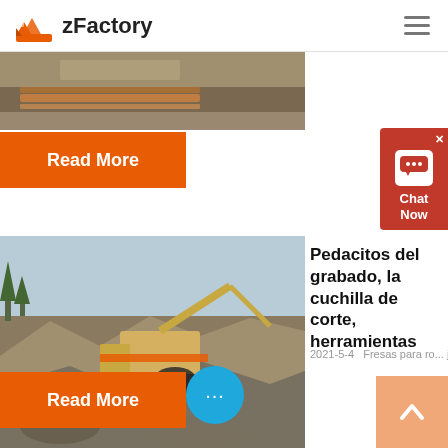zFactory
[Figure (photo): Photo of industrial conveyor belt/mining equipment partially visible at top]
Read More
[Figure (screenshot): Chat Now widget with red background]
[Figure (photo): Photo of rock crushing/mining machine at a quarry site]
Pedacitos del grabado, la cuchilla de corte, herramientas
2021-5-4   Fresas para ro... je...
Read More
[Figure (other): Blue circular chat bubble floating button with ellipsis]
Back to top arrow button